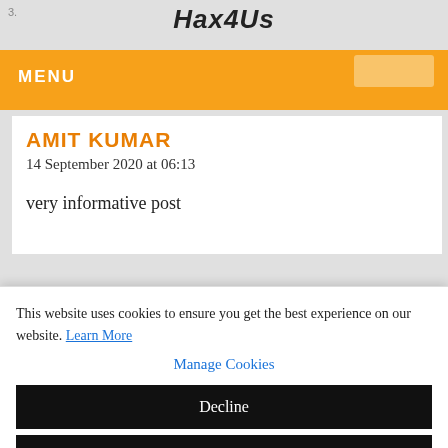3.
Hax4Us
MENU
AMIT KUMAR
14 September 2020 at 06:13
very informative post
This website uses cookies to ensure you get the best experience on our website. Learn More
Manage Cookies
Decline
Allow All
×